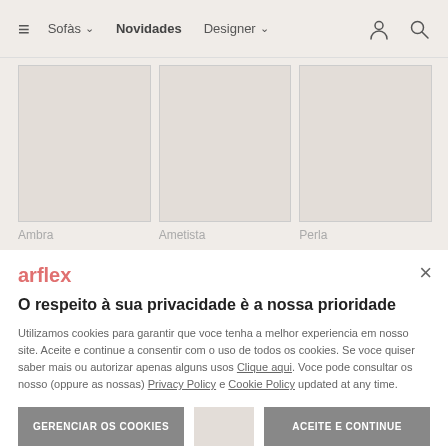≡  Sofàs ∨   Novidades   Designer ∨   [user icon] [search icon]
[Figure (photo): Three product placeholder images in a grid]
Ambra
Ametista
Perla
arflex
O respeito à sua privacidade è a nossa prioridade
Utilizamos cookies para garantir que voce tenha a melhor experiencia em nosso site. Aceite e continue a consentir com o uso de todos os cookies. Se voce quiser saber mais ou autorizar apenas alguns usos Clique aqui. Voce pode consultar os nosso (oppure as nossas) Privacy Policy e Cookie Policy updated at any time.
GERENCIAR OS COOKIES
ACEITE E CONTINUE